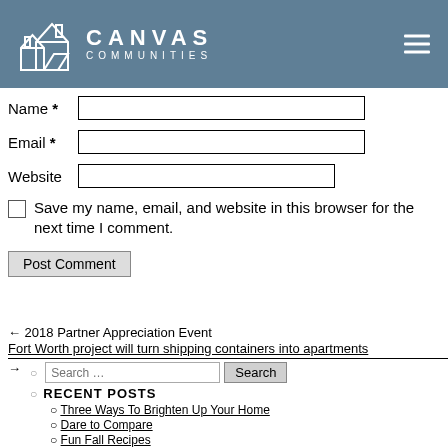Canvas Communities
Name * [input field]
Email * [input field]
Website [input field]
Save my name, email, and website in this browser for the next time I comment.
Post Comment
← 2018 Partner Appreciation Event
Fort Worth project will turn shipping containers into apartments →
Search … [search field] Search
RECENT POSTS
Three Ways To Brighten Up Your Home
Dare to Compare
Fun Fall Recipes
Smart-Home Technology Crash Course
What Are Canvas Communities?